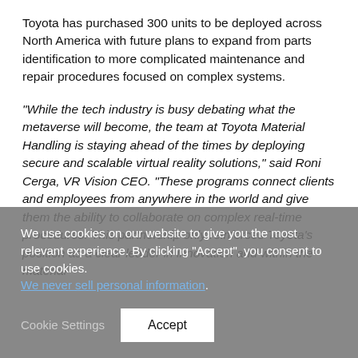Toyota has purchased 300 units to be deployed across North America with future plans to expand from parts identification to more complicated maintenance and repair procedures focused on complex systems.
“While the tech industry is busy debating what the metaverse will become, the team at Toyota Material Handling is staying ahead of the times by deploying secure and scalable virtual reality solutions,” said Roni Cerga, VR Vision CEO. “These programs connect clients and employees from anywhere in the world and give them the ability to collaborate on complex real-time procedures. This partnership only reinforces Toyota’s position as a clear leader in innovation and within the material
We use cookies on our website to give you the most relevant experience. By clicking “Accept”, you consent to use cookies. We never sell personal information.
Cookie Settings
Accept